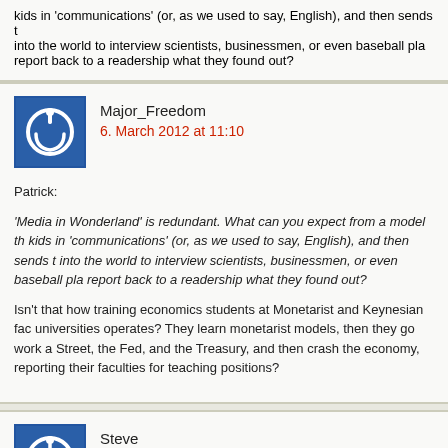kids in 'communications' (or, as we used to say, English), and then sends them into the world to interview scientists, businessmen, or even baseball players, report back to a readership what they found out?
Major_Freedom
6. March 2012 at 11:10
Patrick:
'Media in Wonderland' is redundant. What can you expect from a model that trains kids in 'communications' (or, as we used to say, English), and then sends them into the world to interview scientists, businessmen, or even baseball players, report back to a readership what they found out?

Isn't that how training economics students at Monetarist and Keynesian faculty universities operates? They learn monetarist models, then they go work at Wall Street, the Fed, and the Treasury, and then crash the economy, reporting back to their faculties for teaching positions?
Steve
6. March 2012 at 11:21